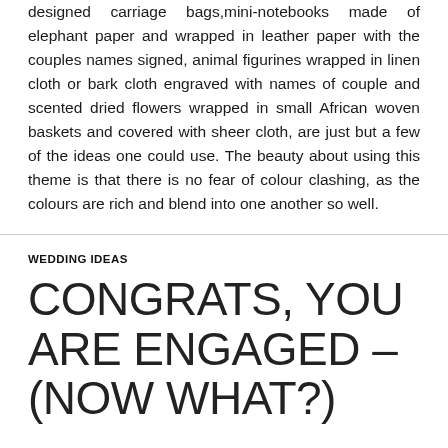designed carriage bags,mini-notebooks made of elephant paper and wrapped in leather paper with the couples names signed, animal figurines wrapped in linen cloth or bark cloth engraved with names of couple and scented dried flowers wrapped in small African woven baskets and covered with sheer cloth, are just but a few of the ideas one could use. The beauty about using this theme is that there is no fear of colour clashing, as the colours are rich and blend into one another so well.
WEDDING IDEAS
CONGRATS, YOU ARE ENGAGED – (NOW WHAT?)